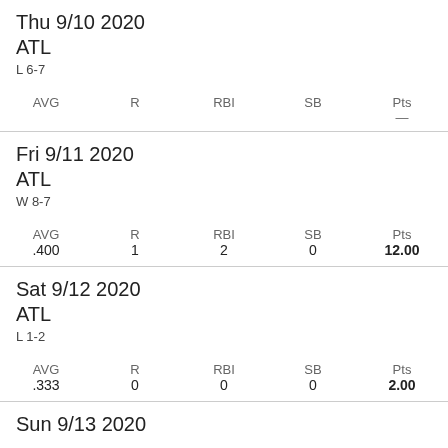| Date/Team/Result | AVG | R | RBI | SB | Pts |
| --- | --- | --- | --- | --- | --- |
| Thu 9/10 2020 ATL L 6-7 |  |  |  |  | — |
| Fri 9/11 2020 ATL W 8-7 | .400 | 1 | 2 | 0 | 12.00 |
| Sat 9/12 2020 ATL L 1-2 | .333 | 0 | 0 | 0 | 2.00 |
| Sun 9/13 2020 |  |  |  |  |  |